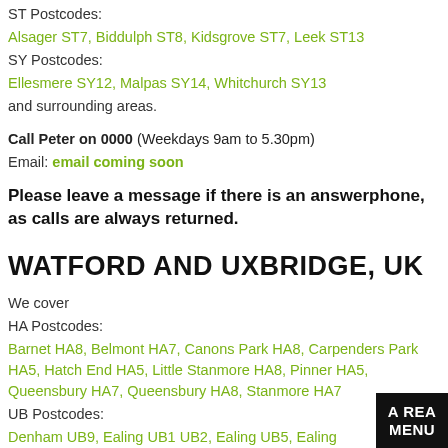ST Postcodes:
Alsager ST7, Biddulph ST8, Kidsgrove ST7, Leek ST13
SY Postcodes:
Ellesmere SY12, Malpas SY14, Whitchurch SY13
and surrounding areas.
Call Peter on 0000 (Weekdays 9am to 5.30pm)
Email: email coming soon
Please leave a message if there is an answerphone, as calls are always returned.
WATFORD AND UXBRIDGE, UK
We cover
HA Postcodes:
Barnet HA8, Belmont HA7, Canons Park HA8, Carpenders Park HA5, Hatch End HA5, Little Stanmore HA8, Pinner HA5, Queensbury HA7, Queensbury HA8, Stanmore HA7
UB Postcodes:
Denham UB9, Ealing UB1 UB2, Ealing UB5, Ealing UB6, Greenford UB5, Harefield UB9, Harmondsworth UB7, Hayes